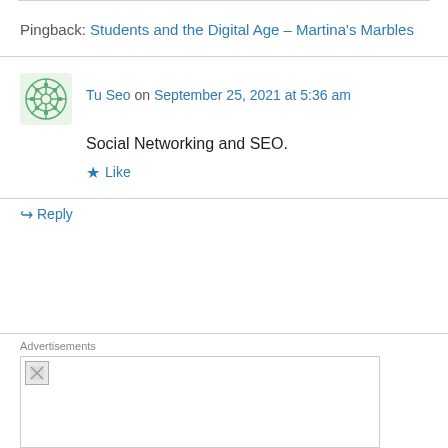Pingback: Students and the Digital Age – Martina's Marbles
Tu Seo on September 25, 2021 at 5:36 am
Social Networking and SEO.
Like
Reply
Advertisements
[Figure (other): Advertisement image placeholder (broken image icon)]